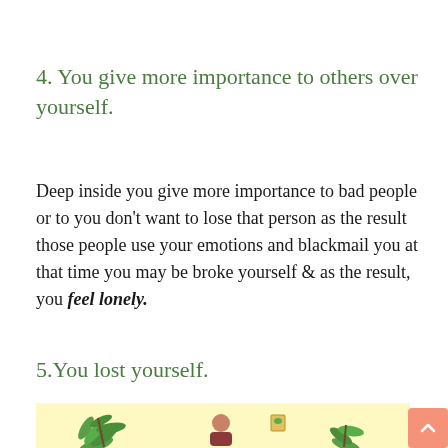4. You give more importance to others over yourself.
Deep inside you give more importance to bad people or to you don't want to lose that person as the result those people use your emotions and blackmail you at that time you may be broke yourself & as the result, you feel lonely.
5.You lost yourself.
[Figure (illustration): Yellow background illustration showing a person sitting with plants and a framed picture on the wall]